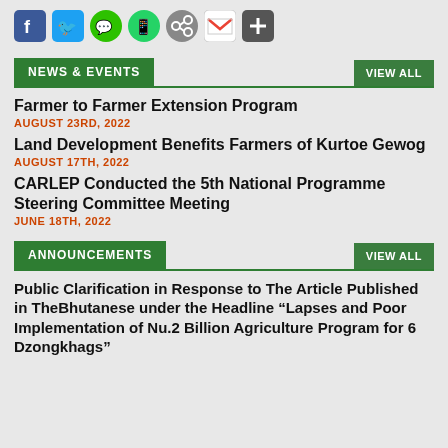[Figure (other): Social media sharing icons: Facebook, Twitter, WeChat, WhatsApp, ShareThis, Gmail, More]
NEWS & EVENTS
Farmer to Farmer Extension Program
AUGUST 23RD, 2022
Land Development Benefits Farmers of Kurtoe Gewog
AUGUST 17TH, 2022
CARLEP Conducted the 5th National Programme Steering Committee Meeting
JUNE 18TH, 2022
ANNOUNCEMENTS
Public Clarification in Response to The Article Published in TheBhutanese under the Headline “Lapses and Poor Implementation of Nu.2 Billion Agriculture Program for 6 Dzongkhags”